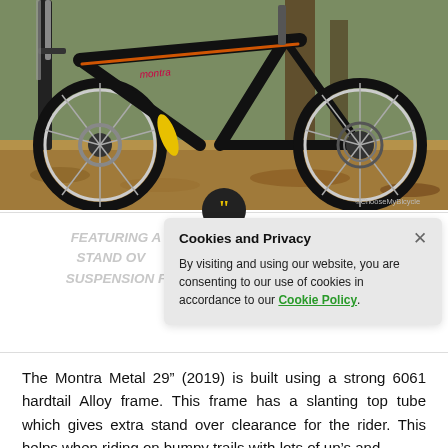[Figure (photo): Photo of a Montra mountain bike (black and orange) outdoors on a trail with dry leaves on the ground. The bike shows the fork, front wheel, rear wheel, and drivetrain. A watermark reads ©ChooseMyBicycle.]
FEATURING A [STAND OV...] / SUSPENSION F[...]
Cookies and Privacy
×
By visiting and using our website, you are consenting to our use of cookies in accordance to our Cookie Policy.
The Montra Metal 29" (2019) is built using a strong 6061 hardtail Alloy frame. This frame has a slanting top tube which gives extra stand over clearance for the rider. This helps when riding on bumpy trails with lots of up's and